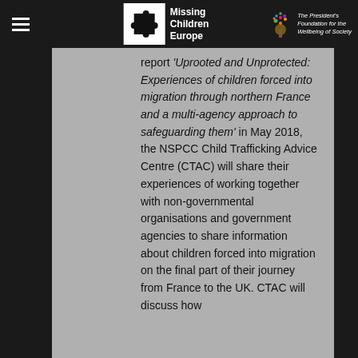Missing Children Europe / The President's Foundation for the Wellbeing of Society
report 'Uprooted and Unprotected: Experiences of children forced into migration through northern France and a multi-agency approach to safeguarding them' in May 2018, the NSPCC Child Trafficking Advice Centre (CTAC) will share their experiences of working together with non-governmental organisations and government agencies to share information about children forced into migration on the final part of their journey from France to the UK. CTAC will discuss how